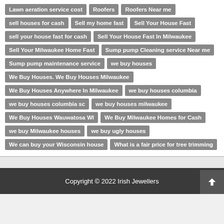Lawn aeration service cost
Roofers
Roofers Near me
sell houses for cash
Sell my home fast
Sell Your House Fast
sell your house fast for cash
Sell Your House Fast In Milwaukee
Sell Your Milwaukee Home Fast
Sump pump Cleaning service Near me
Sump pump maintenance service
we buy houses
We Buy Houses. We Buy Houses Milwaukee
We Buy Houses Anywhere In Milwaukee
we buy houses columbia
we buy houses columbia sc
we buy houses milwaukee
We Buy Houses Wauwatosa WI
We Buy Milwaukee Homes for Cash
we buy Milwaukee houses
we buy ugly houses
We can buy your Wisconsin house
What is a fair price for tree trimming
Copyright © 2022 Irish Jewellers